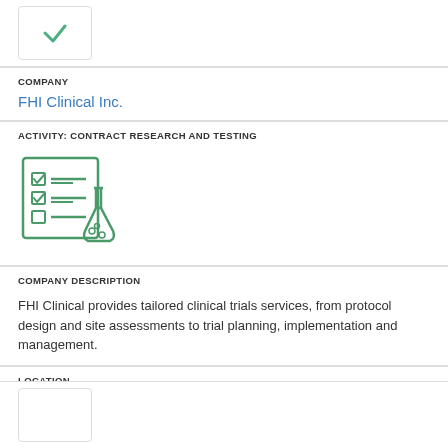[Figure (logo): Company logo placeholder box at top of page]
COMPANY
FHI Clinical Inc.
ACTIVITY: CONTRACT RESEARCH AND TESTING
[Figure (illustration): Green icon of a checklist/clipboard with laboratory flask and beaker]
COMPANY DESCRIPTION
FHI Clinical provides tailored clinical trials services, from protocol design and site assessments to trial planning, implementation and management.
LOCATION
Durham
[Figure (logo): Company logo placeholder box at bottom of page]